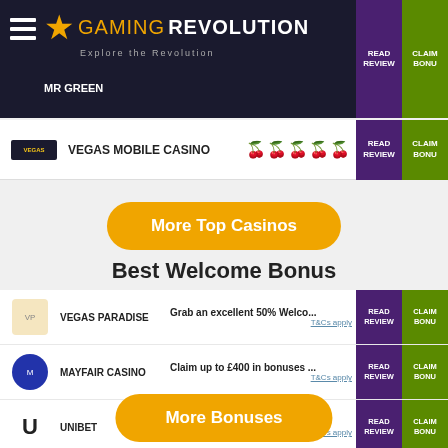[Figure (screenshot): Gaming Revolution website header with hamburger menu, star logo, site name, MR GREEN label, and READ REVIEW / CLAIM BONUS buttons]
[Figure (screenshot): Vegas Mobile Casino row with logo, cherry rating icons, READ REVIEW and CLAIM BONUS buttons]
[Figure (screenshot): More Top Casinos orange rounded button]
Best Welcome Bonus
[Figure (screenshot): List of casinos: Vegas Paradise, Mayfair Casino, Unibet, CasinoLuck, Genesis Casino each with bonus description, READ REVIEW and CLAIM BONUS buttons]
[Figure (screenshot): More Bonuses orange rounded button]